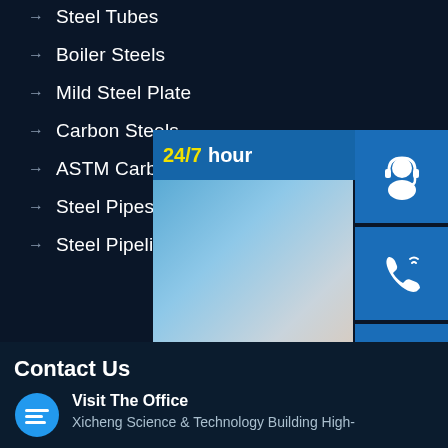→ Steel Tubes
→ Boiler Steels
→ Mild Steel Plate
→ Carbon Steels
→ ASTM Carbon Steel
→ Steel Pipes
→ Steel Pipeline
[Figure (screenshot): Customer service chat widget showing '24/7 hour' text in yellow, a photo of smiling customer service agent, and three blue icon buttons (headset, phone, Skype) with 'Click to chat' button at bottom]
Contact Us
[Figure (illustration): Blue speech bubble chat icon]
Visit The Office
Xicheng Science & Technology Building High-